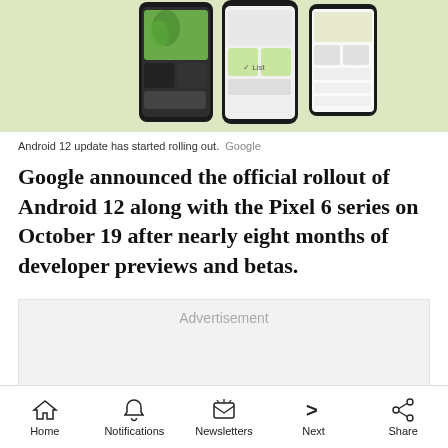[Figure (screenshot): Android 12 UI screenshot showing phone screen with colorful widgets on a light green/yellow background]
Android 12 update has started rolling out.  Google
Google announced the official rollout of Android 12 along with the Pixel 6 series on October 19 after nearly eight months of developer previews and betas.
[Figure (other): Advertisement placeholder box]
Home  Notifications  Newsletters  Next  Share